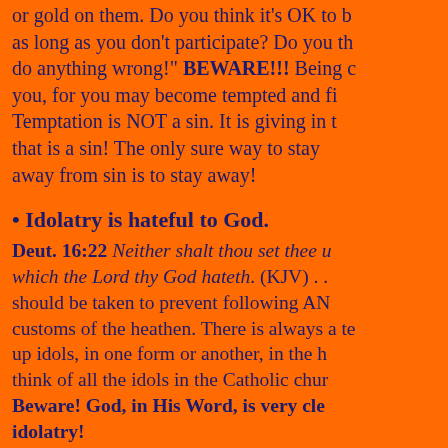or gold on them. Do you think it's OK to b as long as you don't participate? Do you th do anything wrong!" BEWARE!!! Being c you, for you may become tempted and fi Temptation is NOT a sin. It is giving in that is a sin! The only sure way to stay away from sin is to stay away!
• Idolatry is hateful to God.
Deut. 16:22 Neither shalt thou set thee up which the Lord thy God hateth. (KJV) . . should be taken to prevent following AN customs of the heathen. There is always a te up idols, in one form or another, in the h think of all the idols in the Catholic chur Beware! God, in His Word, is very cle idolatry! Jeremiah 44:3-4 Because of their wickedne have committed to provoke me to anger, in t to burn incense, and to serve other gods knew not, neither they, ye, nor your fathers.